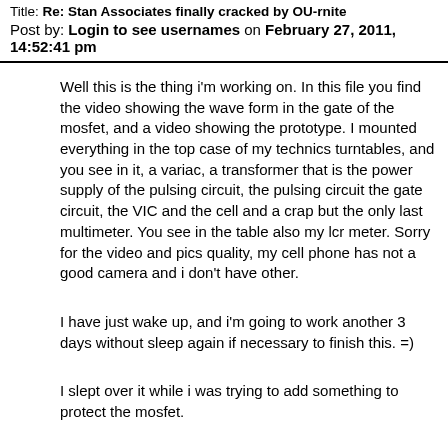Title: Re: Stan Associates finally cracked by OU-rnite
Post by: Login to see usernames on February 27, 2011, 14:52:41 pm
Well this is the thing i'm working on. In this file you find the video showing the wave form in the gate of the mosfet, and a video showing the prototype. I mounted everything in the top case of my technics turntables, and you see in it, a variac, a transformer that is the power supply of the pulsing circuit, the pulsing circuit the gate circuit, the VIC and the cell and a crap but the only last multimeter. You see in the table also my lcr meter. Sorry for the video and pics quality, my cell phone has not a good camera and i don't have other.
I have just wake up, and i'm going to work another 3 days without sleep again if necessary to finish this. =)
I slept over it while i was trying to add something to protect the mosfet.
I'm going to add a 1kohm resistor connecting the drain to the source, and also a 100nf cap i also have a diode in series with the mosfet.
I hope someone can give a hint here on how to make the circuit more stable and un-burnable.